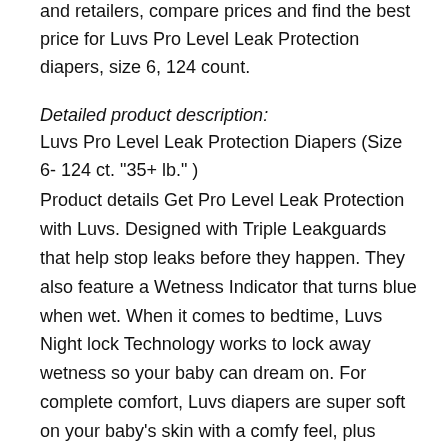and retailers, compare prices and find the best price for Luvs Pro Level Leak Protection diapers, size 6, 124 count.
Detailed product description: Luvs Pro Level Leak Protection Diapers (Size 6- 124 ct. "35+ lb." ) Product details Get Pro Level Leak Protection with Luvs. Designed with Triple Leakguards that help stop leaks before they happen. They also feature a Wetness Indicator that turns blue when wet. When it comes to bedtime, Luvs Night lock Technology works to lock away wetness so your baby can dream on. For complete comfort, Luvs diapers are super soft on your baby's skin with a comfy feel, plus they're designed with larger, refastenable tabs for a secure fit. Features: Night lock Technology locks away wetness Helps stop leaks before they happen Super soft on baby's skin No parables, no latex Luvs diapers are getting an upgrade so your packaging and product may vary Features: Nightlock Technology locks away wetness Helps